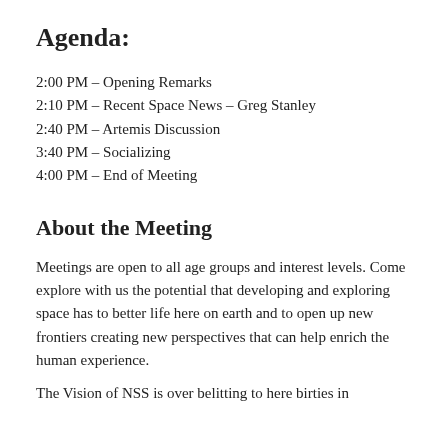Agenda:
2:00 PM – Opening Remarks
2:10 PM – Recent Space News – Greg Stanley
2:40 PM – Artemis Discussion
3:40 PM – Socializing
4:00 PM – End of Meeting
About the Meeting
Meetings are open to all age groups and interest levels. Come explore with us the potential that developing and exploring space has to better life here on earth and to open up new frontiers creating new perspectives that can help enrich the human experience.
The Vision of NSS is over belitting to here birties in